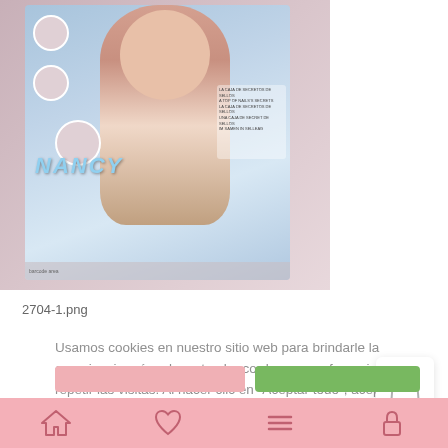[Figure (photo): Product box image of Nancy doll toy, showing a doll with the Nancy logo, pale blue toy box packaging with character images]
2704-1.png
[Figure (photo): Broken/missing image icon placeholder (small file icon with torn corner)]
Usamos cookies en nuestro sitio web para brindarle la experiencia más relevante al recordar sus preferencias y repetir las visitas. Al hacer clic en "Aceptar todo", acepta el uso de TODAS las cookies. Sin embargo, puede visitar "Configuración de cookies" para proporcionar un consentimiento controlado.
[Figure (illustration): Shopping bag icon in the bottom right area]
[Figure (illustration): Pink bottom navigation bar with home icon, heart/wishlist icon, menu/hamburger icon, and lock/account icon]